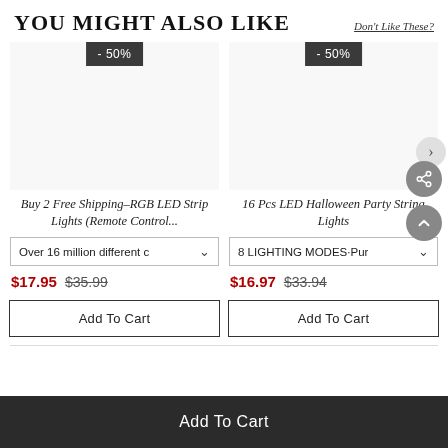YOU MIGHT ALSO LIKE
Don't Like These?
[Figure (other): Product image area for RGB LED Strip Lights with -50% badge]
Buy 2 Free Shipping–RGB LED Strip Lights (Remote Control...
Over 16 million different c
$17.95  $35.99
Add To Cart
[Figure (other): Product image area for LED Halloween Party String Lights with -50% badge]
16 Pcs LED Halloween Party String Lights
8 LIGHTING MODES·Pur
$16.97  $33.94
Add To Cart
Add To Cart